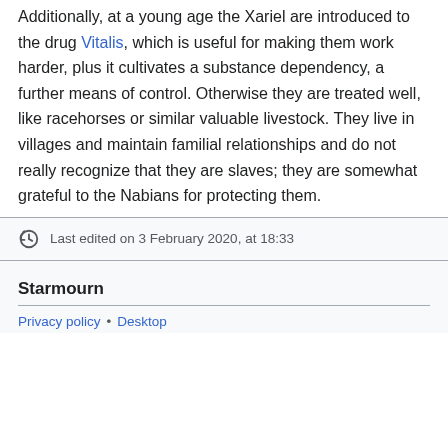Additionally, at a young age the Xariel are introduced to the drug Vitalis, which is useful for making them work harder, plus it cultivates a substance dependency, a further means of control. Otherwise they are treated well, like racehorses or similar valuable livestock. They live in villages and maintain familial relationships and do not really recognize that they are slaves; they are somewhat grateful to the Nabians for protecting them.
Last edited on 3 February 2020, at 18:33
Starmourn
Privacy policy • Desktop